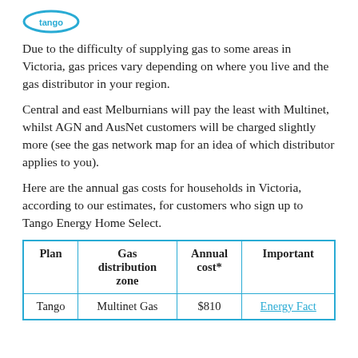[Figure (logo): Tango Energy logo (partial, top of page)]
Due to the difficulty of supplying gas to some areas in Victoria, gas prices vary depending on where you live and the gas distributor in your region.
Central and east Melburnians will pay the least with Multinet, whilst AGN and AusNet customers will be charged slightly more (see the gas network map for an idea of which distributor applies to you).
Here are the annual gas costs for households in Victoria, according to our estimates, for customers who sign up to Tango Energy Home Select.
| Plan | Gas distribution zone | Annual cost* | Important |
| --- | --- | --- | --- |
| Tango | Multinet Gas | $810 | Energy Fact |